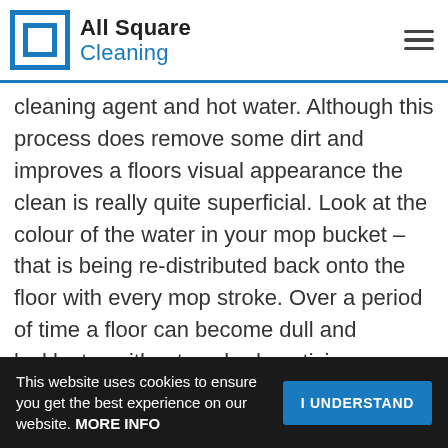All Square Cleaning
cleaning agent and hot water. Although this process does remove some dirt and improves a floors visual appearance the clean is really quite superficial. Look at the colour of the water in your mop bucket – that is being re-distributed back onto the floor with every mop stroke. Over a period of time a floor can become dull and lacklustre without anybody noticing.
This website uses cookies to ensure you get the best experience on our website. MORE INFO